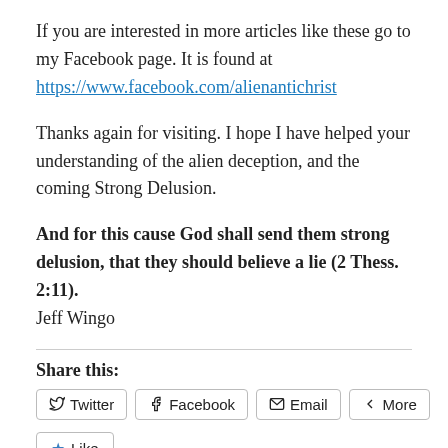If you are interested in more articles like these go to my Facebook page. It is found at
https://www.facebook.com/alienantichrist
Thanks again for visiting. I hope I have helped your understanding of the alien deception, and the coming Strong Delusion.
And for this cause God shall send them strong delusion, that they should believe a lie (2 Thess. 2:11).
Jeff Wingo
Share this:
Twitter  Facebook  Email  More
Like